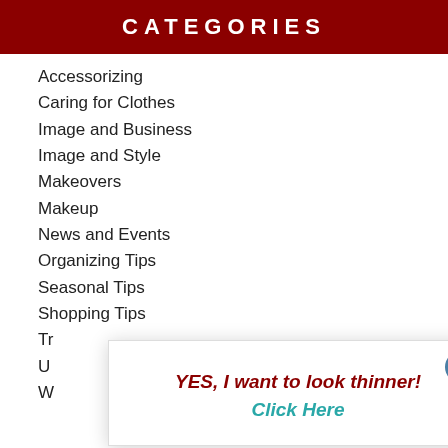CATEGORIES
Accessorizing
Caring for Clothes
Image and Business
Image and Style
Makeovers
Makeup
News and Events
Organizing Tips
Seasonal Tips
Shopping Tips
Tr...
U...
W...
YES, I want to look thinner!
Click Here